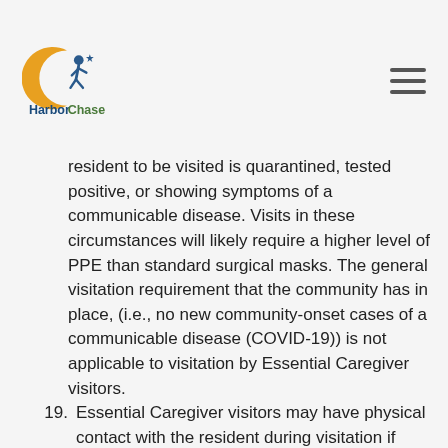HarborChase
resident to be visited is quarantined, tested positive, or showing symptoms of a communicable disease. Visits in these circumstances will likely require a higher level of PPE than standard surgical masks. The general visitation requirement that the community has in place, (i.e., no new community-onset cases of a communicable disease (COVID-19)) is not applicable to visitation by Essential Caregiver visitors.
19. Essential Caregiver visitors may have physical contact with the resident during visitation if they wear